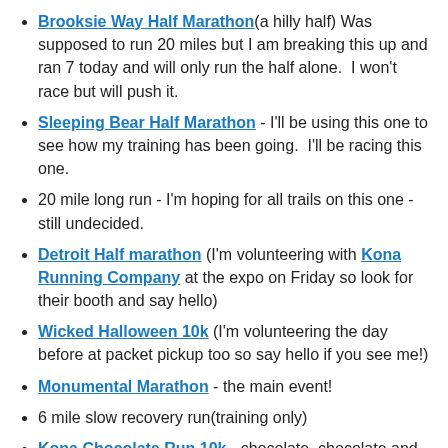Brooksie Way Half Marathon (a hilly half) Was supposed to run 20 miles but I am breaking this up and ran 7 today and will only run the half alone.  I won't race but will push it.
Sleeping Bear Half Marathon - I'll be using this one to see how my training has been going.  I'll be racing this one.
20 mile long run - I'm hoping for all trails on this one - still undecided.
Detroit Half marathon (I'm volunteering with Kona Running Company at the expo on Friday so look for their booth and say hello)
Wicked Halloween 10k (I'm volunteering the day before at packet pickup too so say hello if you see me!)
Monumental Marathon - the main event!
6 mile slow recovery run(training only)
Kona Chocolate Run 10k - chocolate, chocolate and more chocolate